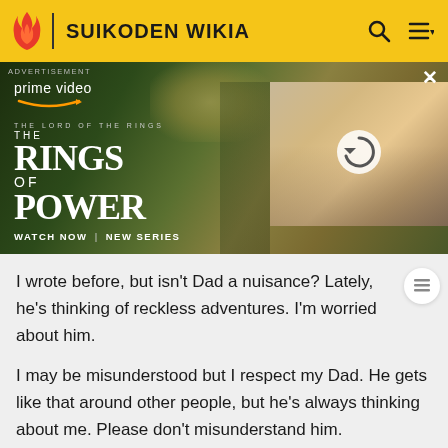SUIKODEN WIKIA
[Figure (screenshot): Amazon Prime Video advertisement for 'The Lord of the Rings: The Rings of Power' with text 'WATCH NOW | NEW SERIES' and two overlapping image panels showing characters from the series.]
I wrote before, but isn't Dad a nuisance? Lately, he's thinking of reckless adventures. I'm worried about him.
I may be misunderstood but I respect my Dad. He gets like that around other people, but he's always thinking about me. Please don't misunderstand him.
This one's a pure boy. He formed the Saint Loa Knights with Alanis and Elliot.